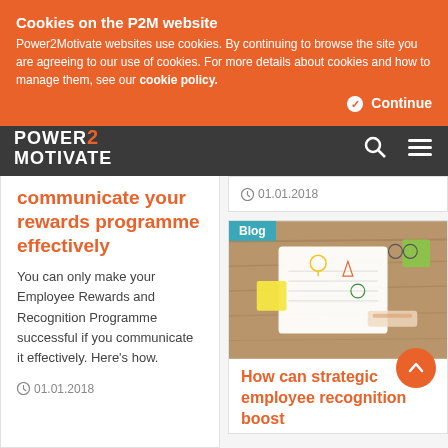Cookies on the P2M website
Power2Motivate websites use cookies. By continuing to browse the site you are agreeing to our use of cookies. For more details about cookies and how to manage them, see our cookie policy.
Continue
[Figure (logo): POWER2MOTIVATE logo in white text on dark grey navigation bar with search and hamburger menu icons]
communicate your rewards programme effectively
You can only make your Employee Rewards and Recognition Programme successful if you communicate it effectively. Here's how.
01.01.2018
01.01.2018
[Figure (photo): Blog post image showing a flat-lay of creative planning materials on a wooden table, with sticky notes, drawings, glasses, and hands writing.]
How can strategic employee recognition boost